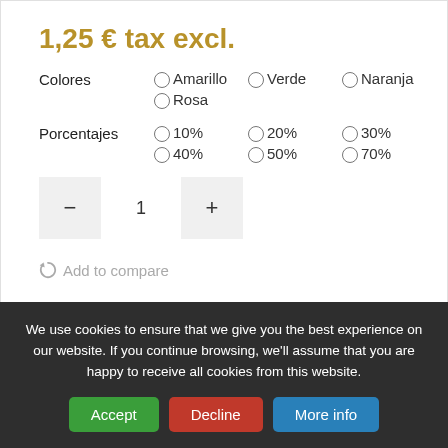1,25 € tax excl.
Colores  ○Amarillo  ○Verde  ○Naranja  ○Rosa
Porcentajes  ○10%  ○20%  ○30%  ○40%  ○50%  ○70%
- 1 +
↺ Add to compare
Related Products
We use cookies to ensure that we give you the best experience on our website. If you continue browsing, we'll assume that you are happy to receive all cookies from this website.
Accept  Decline  More info